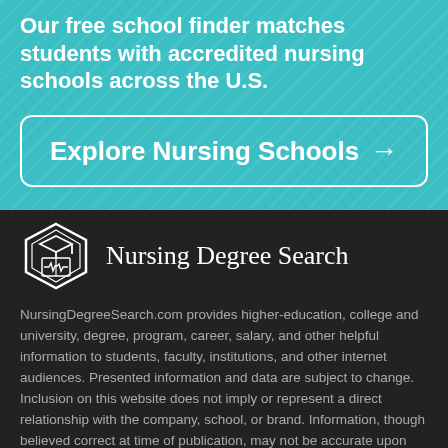Our free school finder matches students with accredited nursing schools across the U.S.
Explore Nursing Schools →
[Figure (logo): Nursing Degree Search logo: a hexagonal shield icon with a graduation cap and book with a heartbeat line, followed by the text 'Nursing Degree Search']
NursingDegreeSearch.com provides higher-education, college and university, degree, program, career, salary, and other helpful information to students, faculty, institutions, and other internet audiences. Presented information and data are subject to change. Inclusion on this website does not imply or represent a direct relationship with the company, school, or brand. Information, though believed correct at time of publication, may not be accurate upon review. Content is